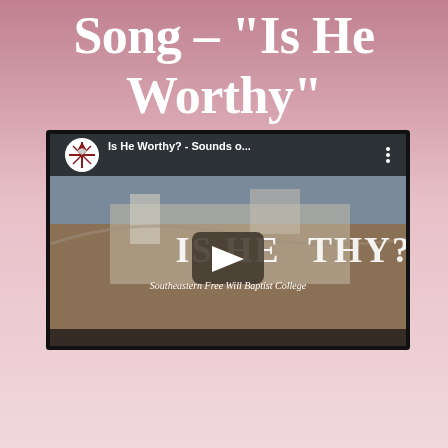Song – "Is He Worthy"
[Figure (screenshot): YouTube video thumbnail showing 'Is He Worthy? - Sounds o...' with a compass rose logo, aerial view of a campus, large text 'IS HE WORTHY?' and subtitle 'Southeastern Free Will Baptist College', with a play button overlay]